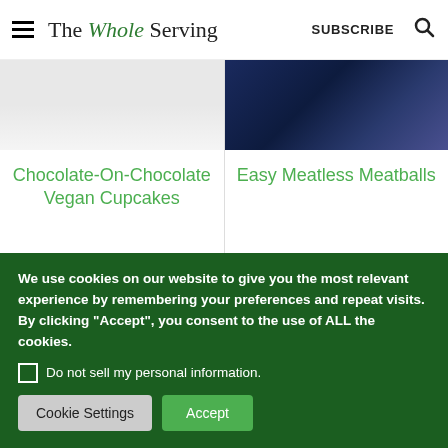The Whole Serving | SUBSCRIBE
Chocolate-On-Chocolate Vegan Cupcakes
Easy Meatless Meatballs
We use cookies on our website to give you the most relevant experience by remembering your preferences and repeat visits. By clicking “Accept”, you consent to the use of ALL the cookies.
Do not sell my personal information.
Cookie Settings
Accept